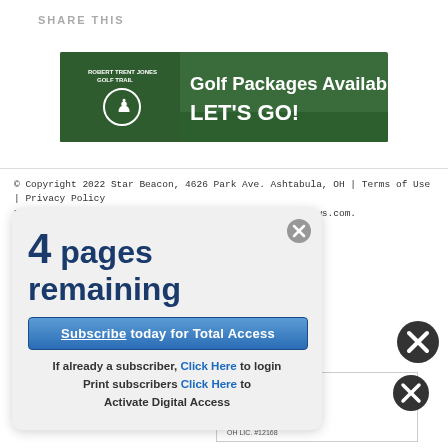SHARE THIS
[Figure (other): Robert Trent Jones Golf Trail advertisement banner: 'Golf Packages Available Now. LET'S GO!' with golf course aerial image on dark green background.]
© Copyright 2022 Star Beacon, 4626 Park Ave. Ashtabula, OH | Terms of Use | Privacy Policy
Powered by BLOX Content Management System from TownNews.com.
4 pages remaining
Subscribe today for Total Access
If already a subscriber, Click Here to login
Print subscribers Click Here to Activate Digital Access